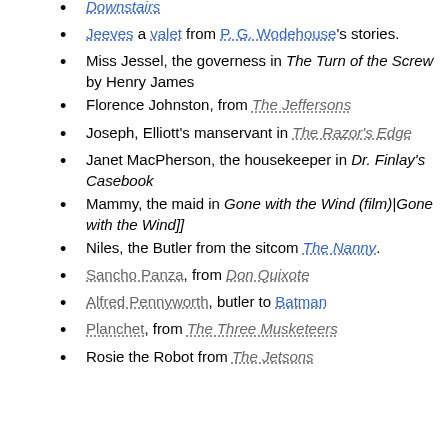Downstairs
Jeeves a valet from P. G. Wodehouse's stories.
Miss Jessel, the governess in The Turn of the Screw by Henry James
Florence Johnston, from The Jeffersons
Joseph, Elliott's manservant in The Razor's Edge
Janet MacPherson, the housekeeper in Dr. Finlay's Casebook
Mammy, the maid in Gone with the Wind (film)|Gone with the Wind]]
Niles, the Butler from the sitcom The Nanny.
Sancho Panza, from Don Quixote
Alfred Pennyworth, butler to Batman
Planchet, from The Three Musketeers
Rosie the Robot from The Jetsons